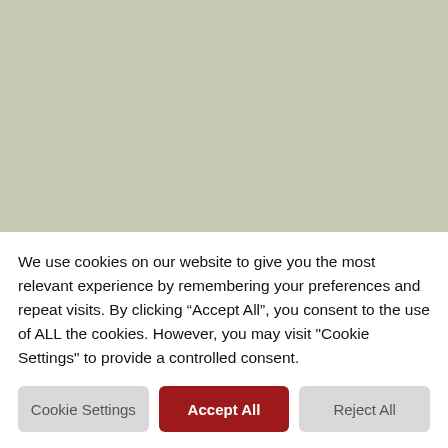[Figure (screenshot): Sage green/khaki colored background covering the upper portion of the page]
SIGN UP FOR OFFERS & NEWS
Name (placeholder in input field)
We use cookies on our website to give you the most relevant experience by remembering your preferences and repeat visits. By clicking "Accept All", you consent to the use of ALL the cookies. However, you may visit "Cookie Settings" to provide a controlled consent.
Cookie Settings | Accept All | Reject All